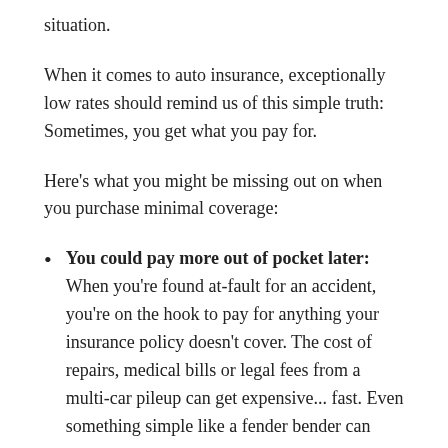situation.
When it comes to auto insurance, exceptionally low rates should remind us of this simple truth: Sometimes, you get what you pay for.
Here's what you might be missing out on when you purchase minimal coverage:
You could pay more out of pocket later: When you're found at-fault for an accident, you're on the hook to pay for anything your insurance policy doesn't cover. The cost of repairs, medical bills or legal fees from a multi-car pileup can get expensive... fast. Even something simple like a fender bender can cost